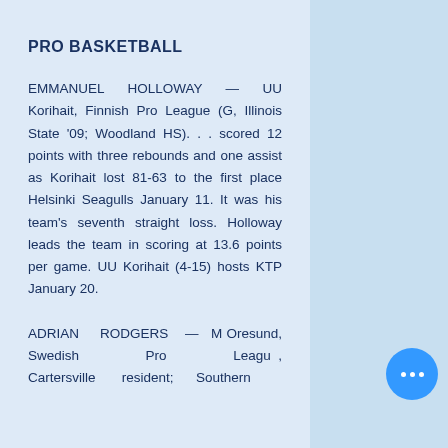PRO BASKETBALL
EMMANUEL HOLLOWAY — UU Korihait, Finnish Pro League (G, Illinois State '09; Woodland HS). . . scored 12 points with three rebounds and one assist as Korihait lost 81-63 to the first place Helsinki Seagulls January 11. It was his team's seventh straight loss. Holloway leads the team in scoring at 13.6 points per game. UU Korihait (4-15) hosts KTP January 20.
ADRIAN RODGERS — M... Oresund, Swedish Pro League..., Cartersville resident; Southern